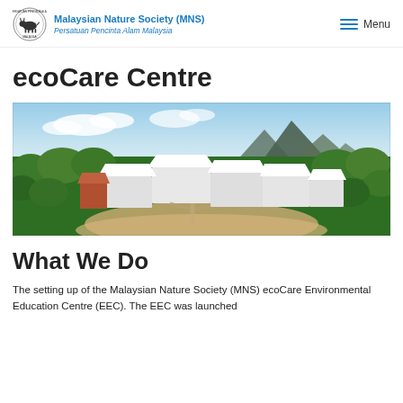Malaysian Nature Society (MNS) | Persatuan Pencinta Alam Malaysia | Menu
ecoCare Centre
[Figure (photo): Aerial photograph of the MNS ecoCare Environmental Education Centre buildings surrounded by green trees, with mountains and blue sky in the background. Multiple white-roofed buildings are clustered together on sandy ground.]
What We Do
The setting up of the Malaysian Nature Society (MNS) ecoCare Environmental Education Centre (EEC). The EEC was launched